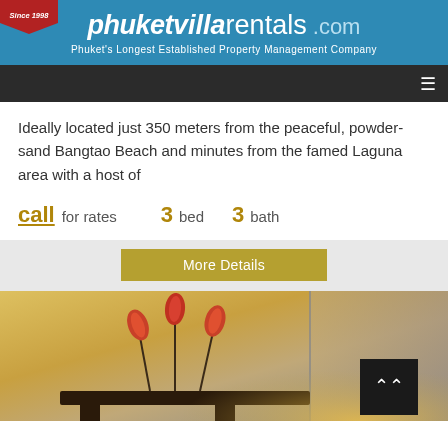phuketvillarentals.com — Phuket's Longest Established Property Management Company
Ideally located just 350 meters from the peaceful, powder-sand Bangtao Beach and minutes from the famed Laguna area with a host of
call for rates  3 bed  3 bath
More Details
[Figure (photo): Interior photo showing orange calla lily flowers in a vase on a dark shelf with warm ambient lighting]